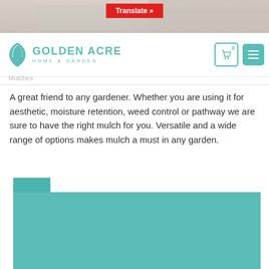[Figure (screenshot): Top banner image strip showing a partially visible garden/photo scene with light tones]
Translate »
[Figure (logo): Golden Acre Home & Garden logo with teal leaf icon and teal text]
Mulches
A great friend to any gardener. Whether you are using it for aesthetic, moisture retention, weed control or pathway we are sure to have the right mulch for you. Versatile and a wide range of options makes mulch a must in any garden.
[Figure (photo): Teal/turquoise colored block image at the bottom, partially visible, appearing to be a product or garden image background]